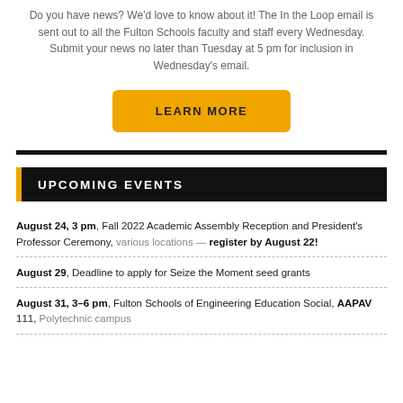Do you have news? We'd love to know about it! The In the Loop email is sent out to all the Fulton Schools faculty and staff every Wednesday. Submit your news no later than Tuesday at 5 pm for inclusion in Wednesday's email.
[Figure (other): Yellow 'LEARN MORE' button]
UPCOMING EVENTS
August 24, 3 pm, Fall 2022 Academic Assembly Reception and President's Professor Ceremony, various locations — register by August 22!
August 29, Deadline to apply for Seize the Moment seed grants
August 31, 3–6 pm, Fulton Schools of Engineering Education Social, AAPAV 111, Polytechnic campus